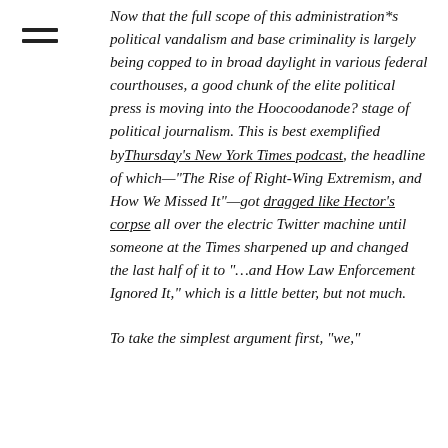[Figure (other): Hamburger menu icon (three horizontal lines)]
Now that the full scope of this administration*s political vandalism and base criminality is largely being copped to in broad daylight in various federal courthouses, a good chunk of the elite political press is moving into the Hoocoodanode? stage of political journalism. This is best exemplified by Thursday's New York Times podcast, the headline of which—"The Rise of Right-Wing Extremism, and How We Missed It"—got dragged like Hector's corpse all over the electric Twitter machine until someone at the Times sharpened up and changed the last half of it to "…and How Law Enforcement Ignored It," which is a little better, but not much.
To take the simplest argument first, "we,"